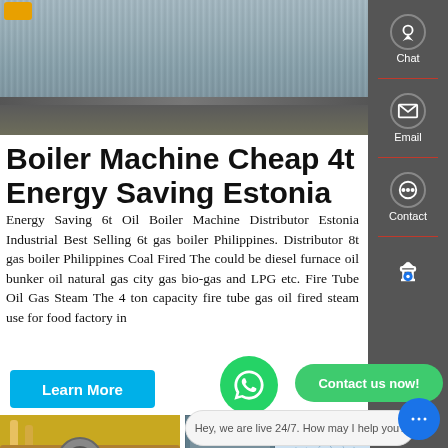[Figure (photo): Industrial boiler installation with corrugated metal wall, yellow piping, and metal construction beams on concrete floor]
Boiler Machine Cheap 4t Energy Saving Estonia
Energy Saving 6t Oil Boiler Machine Distributor Estonia Industrial Best Selling 6t gas boiler Philippines. Distributor 8t gas boiler Philippines Coal Fired The could be diesel furnace oil bunker oil natural gas city gas bio-gas and LPG etc. Fire Tube Oil Gas Steam The 4 ton capacity fire tube gas oil fired steam use for food factory in
[Figure (photo): Industrial boiler room with yellow pipe fittings]
[Figure (photo): Industrial boiler equipment exterior view]
Hey, we are live 24/7. How may I help you?